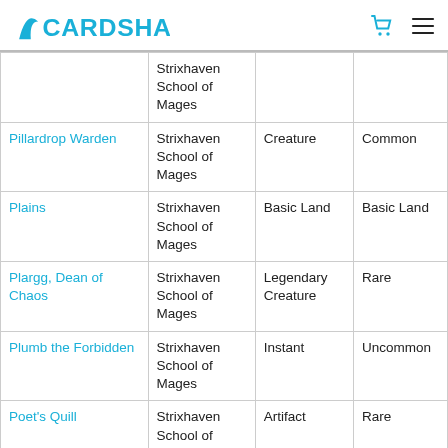CardShark
| Name | Set | Type | Rarity |
| --- | --- | --- | --- |
|  | Strixhaven School of Mages |  |  |
| Pillardrop Warden | Strixhaven School of Mages | Creature | Common |
| Plains | Strixhaven School of Mages | Basic Land | Basic Land |
| Plargg, Dean of Chaos | Strixhaven School of Mages | Legendary Creature | Rare |
| Plumb the Forbidden | Strixhaven School of Mages | Instant | Uncommon |
| Poet's Quill | Strixhaven School of Mages | Artifact | Rare |